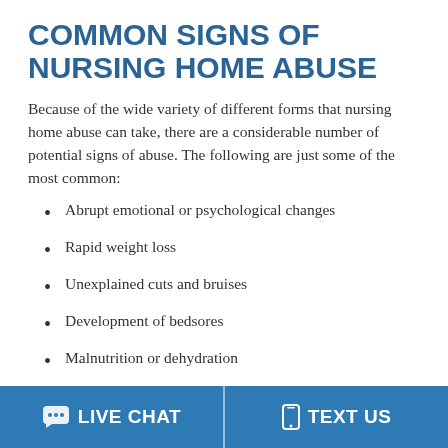COMMON SIGNS OF NURSING HOME ABUSE
Because of the wide variety of different forms that nursing home abuse can take, there are a considerable number of potential signs of abuse. The following are just some of the most common:
Abrupt emotional or psychological changes
Rapid weight loss
Unexplained cuts and bruises
Development of bedsores
Malnutrition or dehydration
If you notice these or any other suspicious signs that
💬 LIVE CHAT   📱 TEXT US